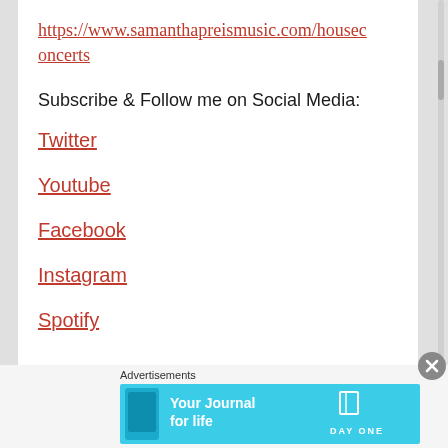https://www.samanthapreismusic.com/houseconcerts
Subscribe & Follow me on Social Media:
Twitter
Youtube
Facebook
Instagram
Spotify
Advertisements
[Figure (screenshot): Day One app advertisement banner: 'Your Journal for life' with DAY ONE logo and book icon on a light blue background, with a phone image on the left.]